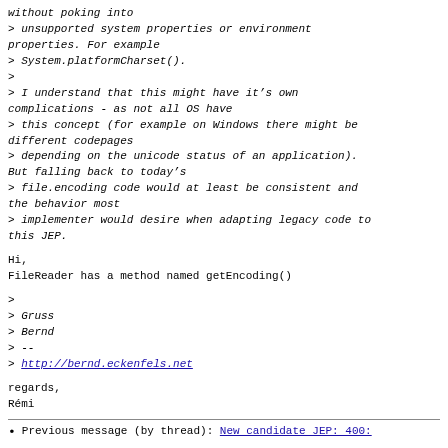without poking into
> unsupported system properties or environment properties. For example
> System.platformCharset().
>
> I understand that this might have it's own complications - as not all OS have
> this concept (for example on Windows there might be different codepages
> depending on the unicode status of an application). But falling back to today's
> file.encoding code would at least be consistent and the behavior most
> implementer would desire when adapting legacy code to this JEP.
Hi,
FileReader has a method named getEncoding()
>
> Gruss
> Bernd
> --
> http://bernd.eckenfels.net
regards,
Rémi
Previous message (by thread): New candidate JEP: 400: